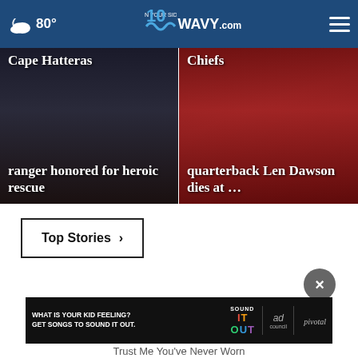80° WAVY.com On Your Side
[Figure (photo): News card: Cape Hatteras ranger honored for heroic rescue (dark background photo)]
[Figure (photo): News card: Chiefs quarterback Len Dawson dies at ... (red/KC Chiefs background)]
Top Stories ▶
[Figure (screenshot): Advertisement banner: WHAT IS YOUR KID FEELING? GET SONGS TO SOUND IT OUT. Sound It Out ad council pivotal]
Trust Me You've Never Worn